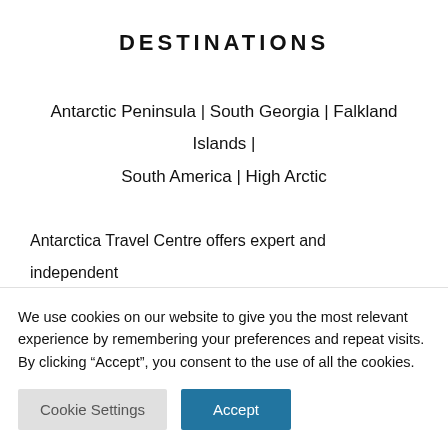DESTINATIONS
Antarctic Peninsula | South Georgia | Falkland Islands | South America | High Arctic
Antarctica Travel Centre offers expert and independent advice on several luxury & expedition Antarctic cruises. We are proud to be affiliate members of the International
We use cookies on our website to give you the most relevant experience by remembering your preferences and repeat visits. By clicking “Accept”, you consent to the use of all the cookies.